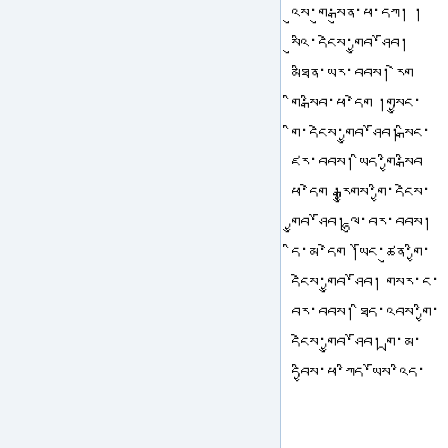Tibetan script text block containing multiple lines of Tibetan manuscript text